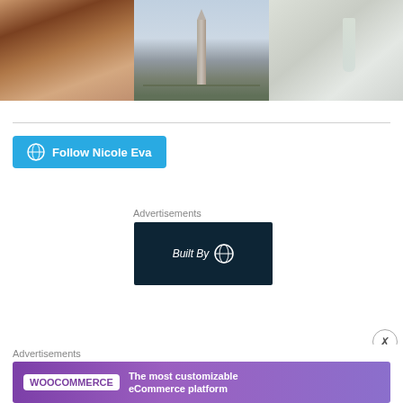[Figure (photo): Three photos in a row: (1) a woman smiling, selfie close-up; (2) Washington Monument obelisk against a twilight sky with flags at base; (3) a crystal champagne flute with a trailing plant vine]
[Figure (illustration): Follow Nicole Eva button with WordPress logo icon in teal/blue]
Advertisements
[Figure (logo): Built By WordPress dark navy banner advertisement]
Advertisements
[Figure (illustration): WooCommerce purple banner advertisement: 'The most customizable eCommerce platform']